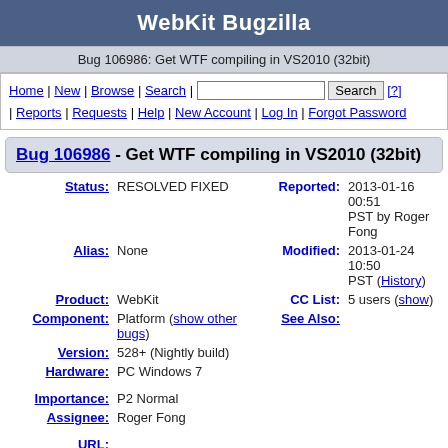WebKit Bugzilla
Bug 106986: Get WTF compiling in VS2010 (32bit)
Home | New | Browse | Search | [search box] Search [?] | Reports | Requests | Help | New Account | Log In | Forgot Password
Bug 106986 - Get WTF compiling in VS2010 (32bit)
| Field | Value | Field | Value |
| --- | --- | --- | --- |
| Status: | RESOLVED FIXED | Reported: | 2013-01-16 00:51 PST by Roger Fong |
| Alias: | None | Modified: | 2013-01-24 10:50 PST (History) |
| Product: | WebKit | CC List: | 5 users (show) |
| Component: | Platform (show other bugs) | See Also: |  |
| Version: | 528+ (Nightly build) |  |  |
| Hardware: | PC Windows 7 |  |  |
| Importance: | P2 Normal |  |  |
| Assignee: | Roger Fong |  |  |
| URL: |  |  |  |
| Keywords: | InRadar |  |  |
| Depends |  |  |  |